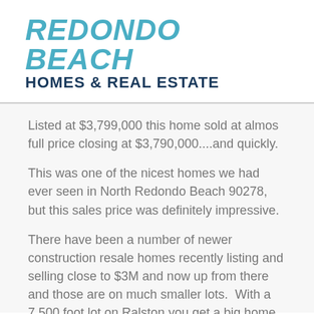REDONDO BEACH HOMES & REAL ESTATE
Listed at $3,799,000 this home sold at almos full price closing at $3,790,000....and quickly.
This was one of the nicest homes we had ever seen in North Redondo Beach 90278, but this sales price was definitely impressive.
There have been a number of newer construction resale homes recently listing and selling close to $3M and now up from there and those are on much smaller lots.  With a 7,500 foot lot on Ralston you get a big home and still plenty of backyard.....enough for a yard and a pool and spa.